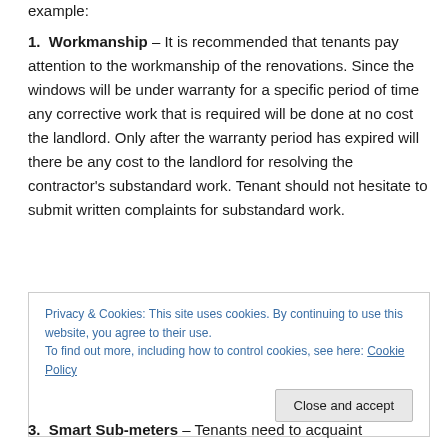example:
1.  Workmanship – It is recommended that tenants pay attention to the workmanship of the renovations. Since the windows will be under warranty for a specific period of time any corrective work that is required will be done at no cost the landlord. Only after the warranty period has expired will there be any cost to the landlord for resolving the contractor's substandard work. Tenant should not hesitate to submit written complaints for substandard work.
Privacy & Cookies: This site uses cookies. By continuing to use this website, you agree to their use. To find out more, including how to control cookies, see here: Cookie Policy
3.  Smart Sub-meters – Tenants need to acquaint